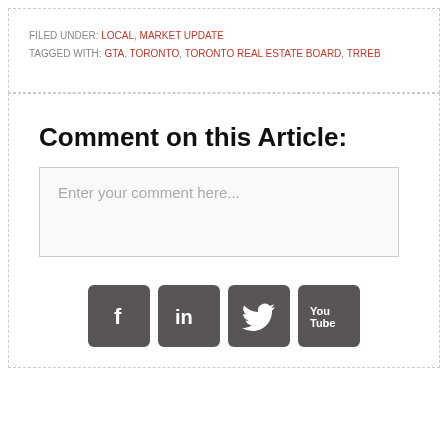FILED UNDER: LOCAL, MARKET UPDATE
TAGGED WITH: GTA, TORONTO, TORONTO REAL ESTATE BOARD, TRREB
Comment on this Article:
Enter your comment here...
[Figure (infographic): Social media icons row: Facebook, LinkedIn, Twitter, YouTube — dark gray rounded square buttons]